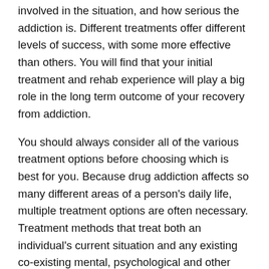involved in the situation, and how serious the addiction is. Different treatments offer different levels of success, with some more effective than others. You will find that your initial treatment and rehab experience will play a big role in the long term outcome of your recovery from addiction.
You should always consider all of the various treatment options before choosing which is best for you. Because drug addiction affects so many different areas of a person's daily life, multiple treatment options are often necessary. Treatment methods that treat both an individual's current situation and any existing co-existing mental, psychological and other physical problems can result in sustained long-term recovery. It's important to take all of the time you need to choose a treatment program that is best suited to your particular situation. You don't want to rush into a decision when you really do not know if you'll be able to keep the program or whether it will work well for you.